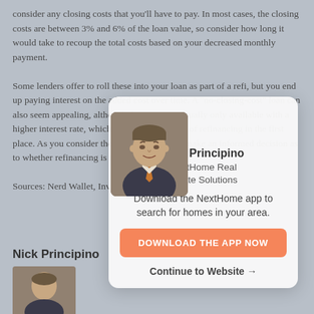consider any closing costs that you'll have to pay. In most cases, the closing costs are between 3% and 6% of the loan value, so consider how long it would take to recoup the total costs based on your decreased monthly payment.
Some lenders offer to roll these into your loan as part of a refi, but you end up paying interest on the added cost over time. A "no-closing-cost" loan can also seem appealing, although this option is usually only available with a higher interest rate, which defeats the purpose of refinancing in the first place. As you consider these factors, you can make an informed decision as to whether refinancing is the right choice.
Sources: Nerd Wallet, Investopedia
[Figure (other): Overlay card with agent photo, name Nick Principino, company NextHome Real Estate Solutions, promo text to download the NextHome app, a Download the App Now button, and a Continue to Website arrow link.]
Nick Principino